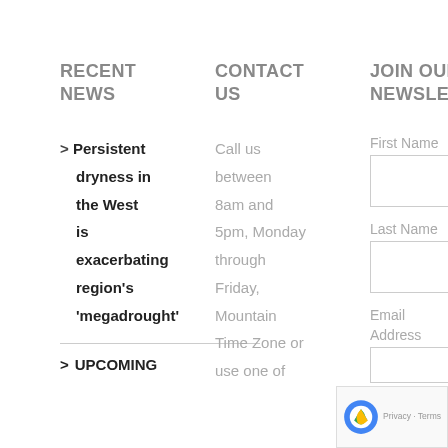RECENT NEWS
CONTACT US
JOIN OUR NEWSLETTER
> Persistent dryness in the West is exacerbating region's 'megadrought'
Call us between 8am and 5pm, Monday through Friday, Mountain Time Zone or use one of
First Name
Last Name
Email Address
> UPCOMING